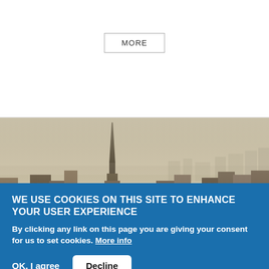MORE
[Figure (photo): Aerial cityscape photograph showing the Empire State Building prominently in the foreground with New York City skyline stretching to the horizon under a hazy sky.]
WE USE COOKIES ON THIS SITE TO ENHANCE YOUR USER EXPERIENCE
By clicking any link on this page you are giving your consent for us to set cookies. More info
OK, I agree   Decline